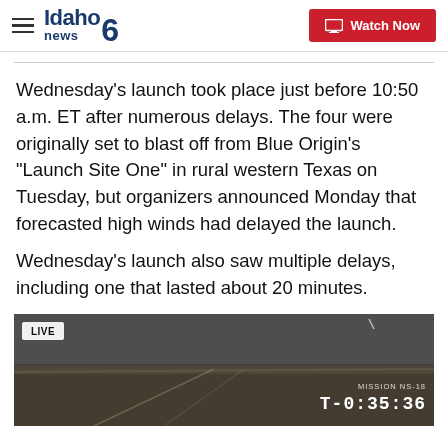Idaho news 6 — Watch Now
Wednesday's launch took place just before 10:50 a.m. ET after numerous delays. The four were originally set to blast off from Blue Origin's "Launch Site One" in rural western Texas on Tuesday, but organizers announced Monday that forecasted high winds had delayed the launch.
Wednesday's launch also saw multiple delays, including one that lasted about 20 minutes.
[Figure (screenshot): Live video feed from Blue Origin launch showing desert landscape with LIVE badge and countdown timer T-0:35:36, Mission NS-18 label.]